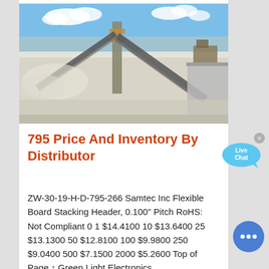[Figure (photo): Industrial conveyor belt system at a mining or quarrying site, viewed from above at an angle, with dusty white/grey material and heavy machinery visible against a blue sky with clouds.]
795 Price And Inventory By Distributor
ZW-30-19-H-D-795-266 Samtec Inc Flexible Board Stacking Header, 0.100" Pitch RoHS: Not Compliant 0 1 $14.4100 10 $13.6400 25 $13.1300 50 $12.8100 100 $9.9800 250 $9.0400 500 $7.1500 2000 $5.2600 Top of Page ↑ Green Light Electronics ...